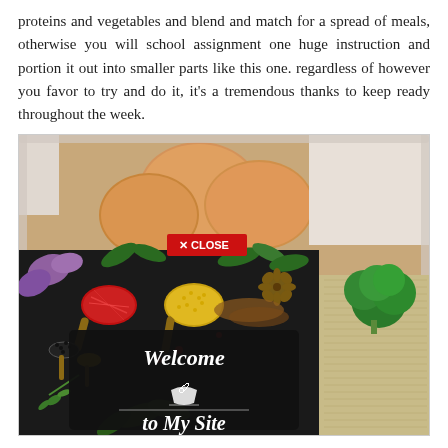proteins and vegetables and blend and match for a spread of meals, otherwise you will school assignment one huge instruction and portion it out into smaller parts like this one. regardless of however you favor to try and do it, it's a tremendous thanks to keep ready throughout the week.
[Figure (photo): A food photo showing rice balls/meatballs at top, overlaid with a spice/ingredient promotional image showing wooden spoons with red and yellow spices, herbs, broccoli, and a dark chalkboard-style overlay with 'Welcome to My Site' text and a mortar and pestle icon. A red 'X CLOSE' button is visible near the top center of the image.]